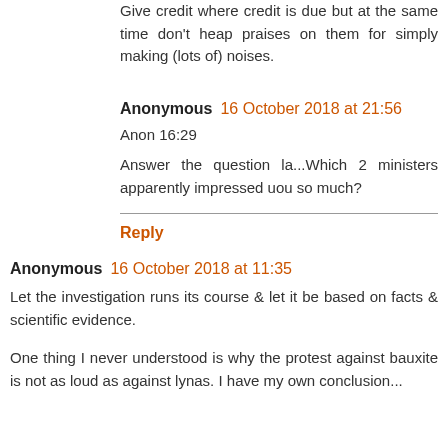Give credit where credit is due but at the same time don't heap praises on them for simply making (lots of) noises.
Anonymous 16 October 2018 at 21:56
Anon 16:29
Answer the question la...Which 2 ministers apparently impressed uou so much?
Reply
Anonymous 16 October 2018 at 11:35
Let the investigation runs its course & let it be based on facts & scientific evidence.
One thing I never understood is why the protest against bauxite is not as loud as against lynas. I have my own conclusion...